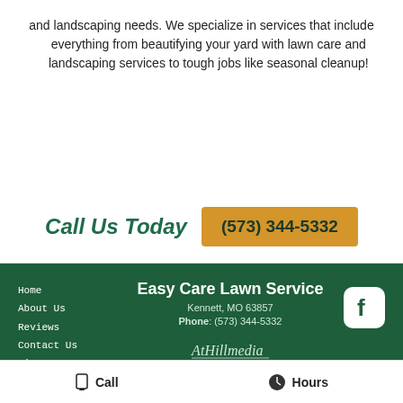and landscaping needs. We specialize in services that include everything from beautifying your yard with lawn care and landscaping services to tough jobs like seasonal cleanup!
Call Us Today  (573) 344-5332
Home
About Us
Reviews
Contact Us
Site Map
Easy Care Lawn Service
Kennett, MO 63857
Phone: (573) 344-5332
[Figure (logo): AtHillmedia logo in cursive script]
[Figure (logo): Facebook icon - white f on dark green rounded square background]
Call   Hours